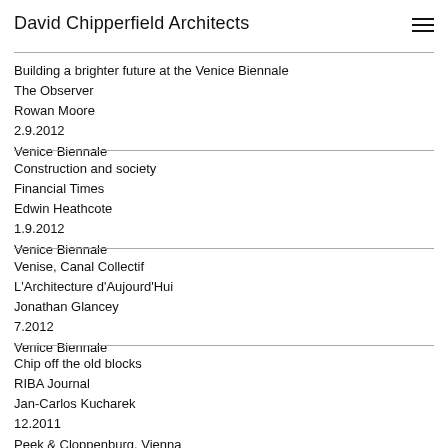David Chipperfield Architects
Building a brighter future at the Venice Biennale
The Observer
Rowan Moore
2.9.2012
Venice Biennale
Construction and society
Financial Times
Edwin Heathcote
1.9.2012
Venice Biennale
Venise, Canal Collectif
L'Architecture d'Aujourd'Hui
Jonathan Glancey
7.2012
Venice Biennale
Chip off the old blocks
RIBA Journal
Jan-Carlos Kucharek
12.2011
Peek & Cloppenburg, Vienna